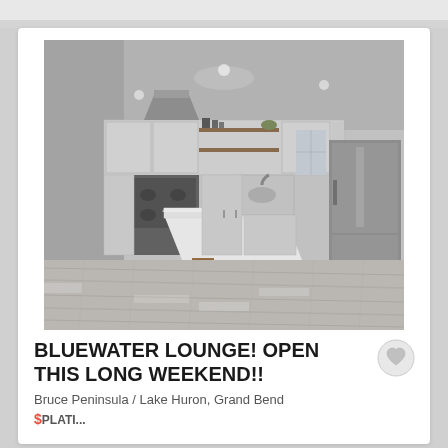[Figure (photo): Interior kitchen photo showing modern white kitchen with island, bar stool, stainless steel appliances, range hood, and light wood-look flooring. Black and white/grayscale image.]
BLUEWATER LOUNGE! OPEN THIS LONG WEEKEND!!
Bruce Peninsula / Lake Huron, Grand Bend